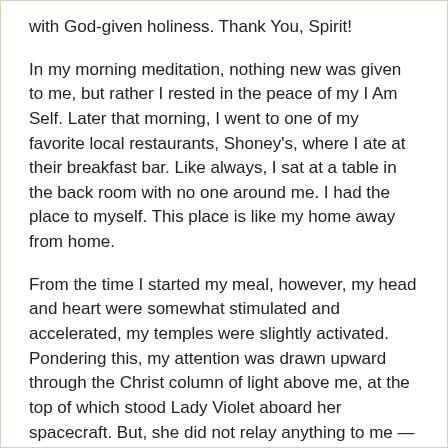with God-given holiness. Thank You, Spirit!
In my morning meditation, nothing new was given to me, but rather I rested in the peace of my I Am Self. Later that morning, I went to one of my favorite local restaurants, Shoney’s, where I ate at their breakfast bar. Like always, I sat at a table in the back room with no one around me. I had the place to myself. This place is like my home away from home.
From the time I started my meal, however, my head and heart were somewhat stimulated and accelerated, my temples were slightly activated. Pondering this, my attention was drawn upward through the Christ column of light above me, at the top of which stood Lady Violet aboard her spacecraft. But, she did not relay anything to me — she was just making her presence known. So I commenced with my meal, listen to music on my smartphone, and thoroughly